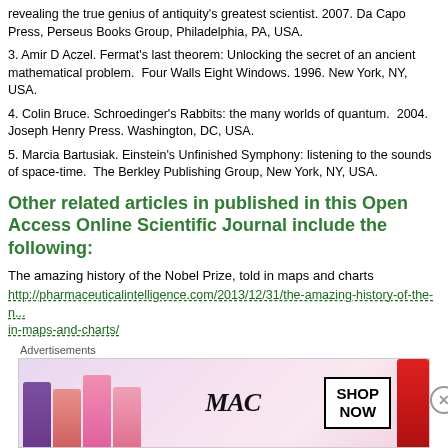revealing the true genius of antiquity's greatest scientist. 2007. Da Capo Press, Perseus Books Group, Philadelphia, PA, USA.
3. Amir D Aczel. Fermat's last theorem: Unlocking the secret of an ancient mathematical problem.  Four Walls Eight Windows. 1996. New York, NY, USA.
4. Colin Bruce. Schroedinger's Rabbits: the many worlds of quantum.  2004. Joseph Henry Press. Washington, DC, USA.
5. Marcia Bartusiak. Einstein's Unfinished Symphony: listening to the sounds of space-time.  The Berkley Publishing Group, New York, NY, USA.
Other related articles in published in this Open Access Online Scientific Journal include the following:
The amazing history of the Nobel Prize, told in maps and charts
http://pharmaceuticalintelligence.com/2013/12/31/the-amazing-history-of-the-nobel-prize-told-in-maps-and-charts/
Quantum Biology And Computational Medicine
Curator: Larry H. Bernstein, MD, FCAP
http://pharmaceuticalintelligence.com/2013/04/03/quantum-biology-and-computational-medicine/
[Figure (photo): Advertisement banner showing MAC cosmetics lipsticks with 'SHOP NOW' button]